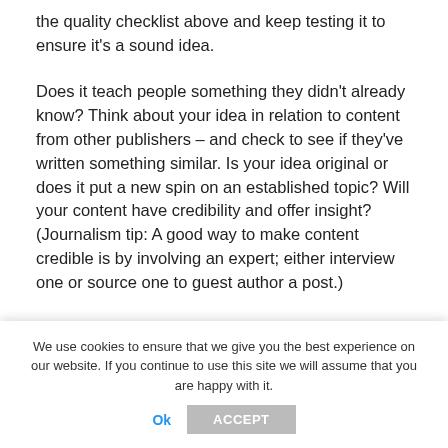the quality checklist above and keep testing it to ensure it's a sound idea.
Does it teach people something they didn't already know? Think about your idea in relation to content from other publishers – and check to see if they've written something similar. Is your idea original or does it put a new spin on an established topic? Will your content have credibility and offer insight? (Journalism tip: A good way to make content credible is by involving an expert; either interview one or source one to guest author a post.)
Finally, what emotional response will your idea trigger? It might
This website uses cookies to improve your experience. We'll assume you're ok with this, but you can opt-out if you wish.
We use cookies to ensure that we give you the best experience on our website. If you continue to use this site we will assume that you are happy with it.